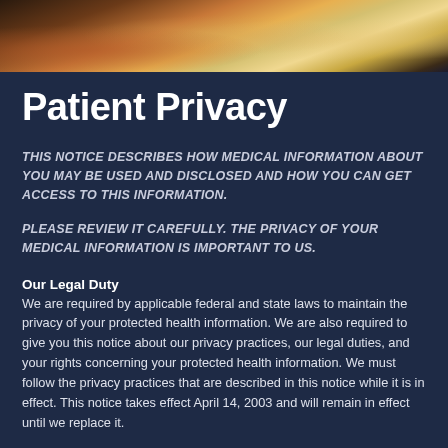[Figure (photo): Photo banner showing people, appears to be patients or families, cropped at top of page]
Patient Privacy
THIS NOTICE DESCRIBES HOW MEDICAL INFORMATION ABOUT YOU MAY BE USED AND DISCLOSED AND HOW YOU CAN GET ACCESS TO THIS INFORMATION.
PLEASE REVIEW IT CAREFULLY. THE PRIVACY OF YOUR MEDICAL INFORMATION IS IMPORTANT TO US.
Our Legal Duty
We are required by applicable federal and state laws to maintain the privacy of your protected health information. We are also required to give you this notice about our privacy practices, our legal duties, and your rights concerning your protected health information. We must follow the privacy practices that are described in this notice while it is in effect. This notice takes effect April 14, 2003 and will remain in effect until we replace it.